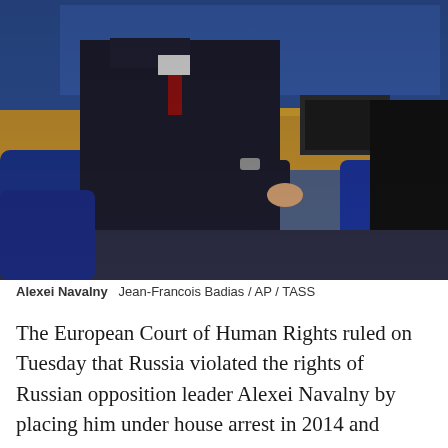[Figure (photo): A man in a dark suit with a red tie seated in what appears to be a formal hearing room or courtroom with blue chairs and wooden desks. Another person is partially visible on the right. The setting appears to be the European Court of Human Rights.]
Alexei Navalny   Jean-Francois Badias / AP / TASS
The European Court of Human Rights ruled on Tuesday that Russia violated the rights of Russian opposition leader Alexei Navalny by placing him under house arrest in 2014 and imposing other restrictive measures on him.
Navalny was placed under house arrest in February 2014 and held there for months while he was investigated for embezzlement, according to him...